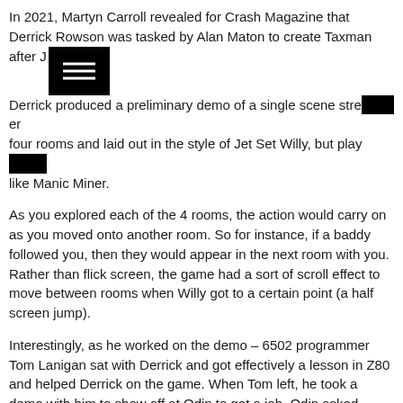In 2021, Martyn Carroll revealed for Crash Magazine that Derrick Rowson was tasked by Alan Maton to create Taxman after J[REDACTED] Derrick produced a preliminary demo of a single scene stre[REDACTED]er four rooms and laid out in the style of Jet Set Willy, but play[REDACTED] like Manic Miner.
As you explored each of the 4 rooms, the action would carry on as you moved onto another room. So for instance, if a baddy followed you, then they would appear in the next room with you. Rather than flick screen, the game had a sort of scroll effect to move between rooms when Willy got to a certain point (a half screen jump).
Interestingly, as he worked on the demo – 6502 programmer Tom Lanigan sat with Derrick and got effectively a lesson in Z80 and helped Derrick on the game. When Tom left, he took a demo with him to show off at Odin to get a job. Odin asked Software Projects why the game was being demoed, and the shock of it being out there would cause Software Projects to decide to cancel the game.
Sadly Derrick no longer has the demo, but there is a faint possibility that Tom still does. Hopefully it will some day surface, but we don't expect there to have ever been a C64 version started, but we are prepared to be surprised.